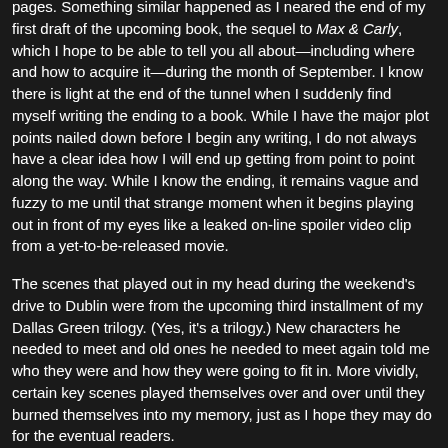pages. Something similar happened as I neared the end of my first draft of the upcoming book, the sequel to Max & Carly, which I hope to be able to tell you all about—including where and how to acquire it—during the month of September. I know there is light at the end of the tunnel when I suddenly find myself writing the ending to a book. While I have the major plot points nailed down before I begin any writing, I do not always have a clear idea how I will end up getting from point to point along the way. While I know the ending, it remains vague and fuzzy to me until that strange moment when it begins playing out in front of my eyes like a leaked on-line spoiler video clip from a yet-to-be-released movie.
The scenes that played out in my head during the weekend's drive to Dublin were from the upcoming third installment of my Dallas Green trilogy. (Yes, it's a trilogy.) New characters he needed to meet and old ones he needed to meet again told me who they were and how they were going to fit in. More vividly, certain key scenes played themselves over and over until they burned themselves into my memory, just as I hope they may do for the eventual readers.